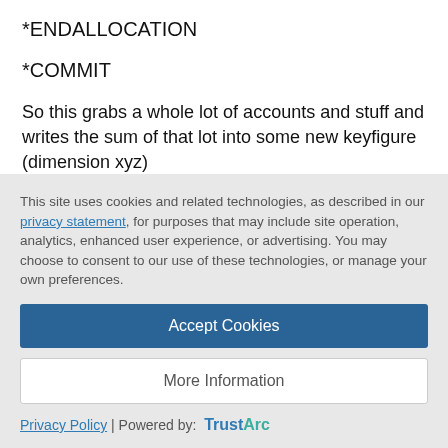*ENDALLOCATION
*COMMIT
So this grabs a whole lot of accounts and stuff and writes the sum of that lot into some new keyfigure (dimension xyz)
Well my Idea was to put the parameters for the dimensions sources and targets into the Dimension XYZ, as it's the driving dimension in this, an then use that masterdata as a parameter in this script.
This site uses cookies and related technologies, as described in our privacy statement, for purposes that may include site operation, analytics, enhanced user experience, or advertising. You may choose to consent to our use of these technologies, or manage your own preferences.
Accept Cookies
More Information
Privacy Policy | Powered by: TrustArc